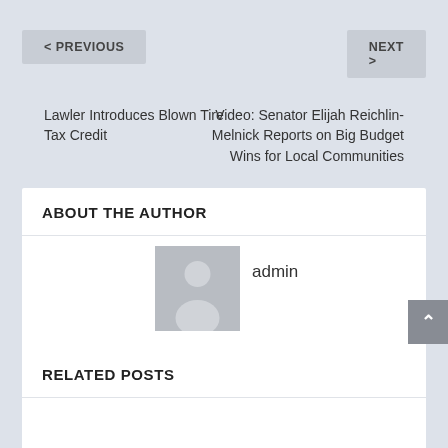< PREVIOUS
NEXT >
Lawler Introduces Blown Tire Tax Credit
Video: Senator Elijah Reichlin-Melnick Reports on Big Budget Wins for Local Communities
ABOUT THE AUTHOR
[Figure (illustration): Generic user avatar placeholder image — grey silhouette of a person on a grey background]
admin
RELATED POSTS